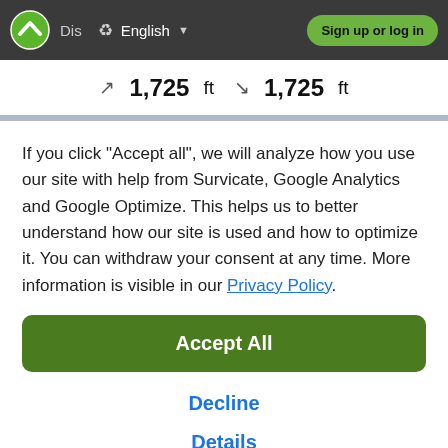Dis  English  Sign up or log in
↗ 1,725 ft  ↘ 1,725 ft
If you click "Accept all", we will analyze how you use our site with help from Survicate, Google Analytics and Google Optimize. This helps us to better understand how our site is used and how to optimize it. You can withdraw your consent at any time. More information is visible in our Privacy Policy.
Accept All
Decline
Details